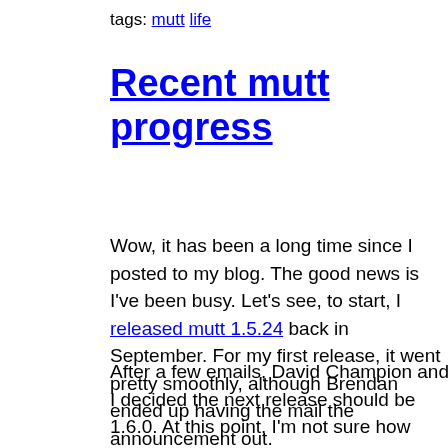tags: mutt life
Recent mutt progress
Wow, it has been a long time since I posted to my blog. The good news is I've been busy. Let's see, to start, I released mutt 1.5.24 back in September. For my first release, it went pretty smoothly, although Brendan ended up having the mail the announcement out.
After a few emails, David Champion and I decided the next release should be 1.6.0. At this point, I'm not sure how much excitement that will generate. 1.5...